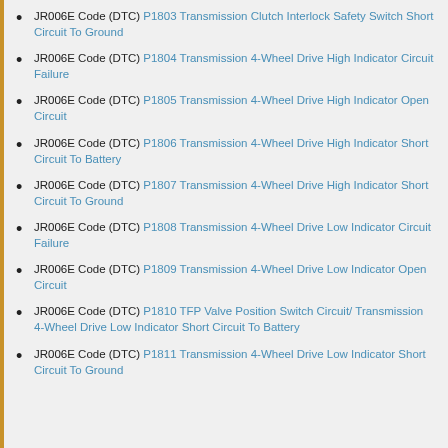JR006E Code (DTC) P1803 Transmission Clutch Interlock Safety Switch Short Circuit To Ground
JR006E Code (DTC) P1804 Transmission 4-Wheel Drive High Indicator Circuit Failure
JR006E Code (DTC) P1805 Transmission 4-Wheel Drive High Indicator Open Circuit
JR006E Code (DTC) P1806 Transmission 4-Wheel Drive High Indicator Short Circuit To Battery
JR006E Code (DTC) P1807 Transmission 4-Wheel Drive High Indicator Short Circuit To Ground
JR006E Code (DTC) P1808 Transmission 4-Wheel Drive Low Indicator Circuit Failure
JR006E Code (DTC) P1809 Transmission 4-Wheel Drive Low Indicator Open Circuit
JR006E Code (DTC) P1810 TFP Valve Position Switch Circuit/ Transmission 4-Wheel Drive Low Indicator Short Circuit To Battery
JR006E Code (DTC) P1811 Transmission 4-Wheel Drive Low Indicator Short Circuit To Ground